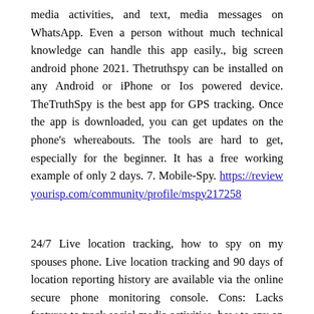media activities, and text, media messages on WhatsApp. Even a person without much technical knowledge can handle this app easily., big screen android phone 2021. Thetruthspy can be installed on any Android or iPhone or Ios powered device. TheTruthSpy is the best app for GPS tracking. Once the app is downloaded, you can get updates on the phone's whereabouts. The tools are hard to get, especially for the beginner. It has a free working example of only 2 days. 7. Mobile-Spy. https://reviewyourisp.com/community/profile/mspy217258
24/7 Live location tracking, how to spy on my spouses phone. Live location tracking and 90 days of location reporting history are available via the online secure phone monitoring console. Cons: Lacks features to track social media activities, how to spy on my spouses phone without having it. Spyic is the only other app that stands in the